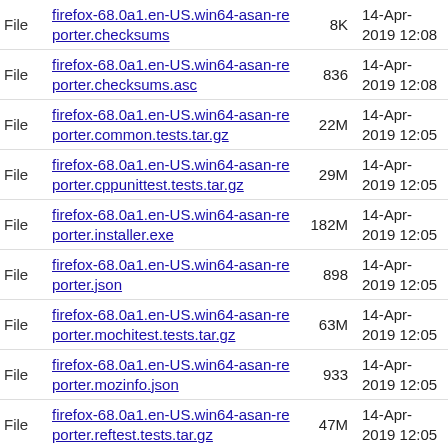| Type | Name | Size | Date |
| --- | --- | --- | --- |
| File | firefox-68.0a1.en-US.win64-asan-reporter.checksums | 8K | 14-Apr-2019 12:08 |
| File | firefox-68.0a1.en-US.win64-asan-reporter.checksums.asc | 836 | 14-Apr-2019 12:08 |
| File | firefox-68.0a1.en-US.win64-asan-reporter.common.tests.tar.gz | 22M | 14-Apr-2019 12:05 |
| File | firefox-68.0a1.en-US.win64-asan-reporter.cppunittest.tests.tar.gz | 29M | 14-Apr-2019 12:05 |
| File | firefox-68.0a1.en-US.win64-asan-reporter.installer.exe | 182M | 14-Apr-2019 12:05 |
| File | firefox-68.0a1.en-US.win64-asan-reporter.json | 898 | 14-Apr-2019 12:05 |
| File | firefox-68.0a1.en-US.win64-asan-reporter.mochitest.tests.tar.gz | 63M | 14-Apr-2019 12:05 |
| File | firefox-68.0a1.en-US.win64-asan-reporter.mozinfo.json | 933 | 14-Apr-2019 12:05 |
| File | firefox-68.0a1.en-US.win64-asan-reporter.reftest.tests.tar.gz | 47M | 14-Apr-2019 12:05 |
| File | firefox-68.0a1.en-US.win64-asan-reporter.talos.tests.tar.gz | 17M | 14-Apr-2019 12:05 |
| File | firefox-68.0a1.en-US.win64-asan-reporter.test_packages.json | 1K | 14-Apr-2019 12:05 |
| File | firefox-68.0a1.en-US.win64-asan-... | 98 | 14-Apr-... |